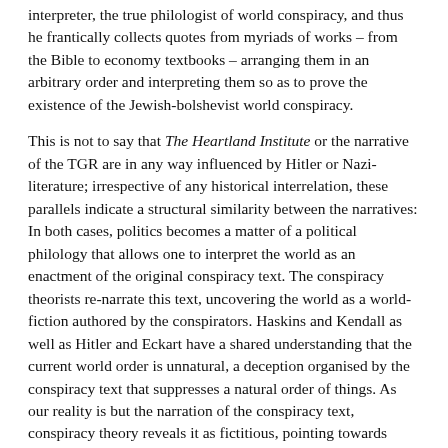interpreter, the true philologist of world conspiracy, and thus he frantically collects quotes from myriads of works – from the Bible to economy textbooks – arranging them in an arbitrary order and interpreting them so as to prove the existence of the Jewish-bolshevist world conspiracy.
This is not to say that The Heartland Institute or the narrative of the TGR are in any way influenced by Hitler or Nazi-literature; irrespective of any historical interrelation, these parallels indicate a structural similarity between the narratives: In both cases, politics becomes a matter of a political philology that allows one to interpret the world as an enactment of the original conspiracy text. The conspiracy theorists re-narrate this text, uncovering the world as a world-fiction authored by the conspirators. Haskins and Kendall as well as Hitler and Eckart have a shared understanding that the current world order is unnatural, a deception organised by the conspiracy text that suppresses a natural order of things. As our reality is but the narration of the conspiracy text, conspiracy theory reveals it as fictitious, pointing towards another reality beyond the narration.
What is at stake here cannot be reduced to these two examples. Nonetheless, the comparison between the TGR narrative and Der Bolschewismus von Moses bis Lenin reveals a structure that is